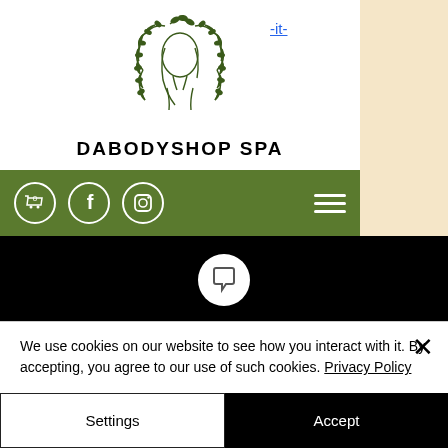[Figure (logo): DaBodyShop Spa circular logo with a woman's silhouette and olive branch wreath in dark green line art]
DABODYSHOP SPA
[Figure (screenshot): Green navigation bar with shopping cart (0), Facebook icon, Instagram icon, and hamburger menu]
[Figure (screenshot): Black promo banner with chat bubble icon, text about accepted payment methods]
VISA, MASTERCARD, DISCOVER, AMERICAN EXPRESS
NEW! We now accept Cash App & PayPal payment!
We use cookies on our website to see how you interact with it. By accepting, you agree to our use of such cookies. Privacy Policy